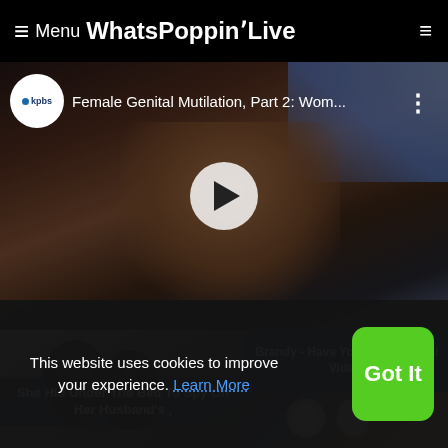≡ Menu WhatsPoppinʼLive
[Figure (screenshot): Embedded YouTube video thumbnail showing a KPBS video titled 'Female Genital Mutilation, Part 2: Wom...' with a play button overlay, showing a close-up of a person's face in surgical/medical setting]
[Figure (photo): Photo of two silhouetted figures with dark background]
She Hid Under The Bed To Spy On Her Husband's ,
Brandy - Have You Ever (Official Video)
[Figure (photo): Partial thumbnail image showing apple and decorative items on dark blue background]
This website uses cookies to improve your experience. Learn More